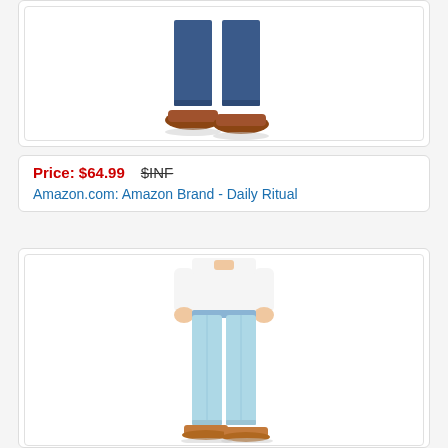[Figure (photo): Partial product photo showing lower legs in dark blue skinny jeans with brown loafer mules, bottom portion of first product card]
Price: $64.99   $INF
Amazon.com: Amazon Brand - Daily Ritual
[Figure (photo): Woman wearing a white t-shirt and light blue straight-leg jeans with tan slide sandals, full body product photo]